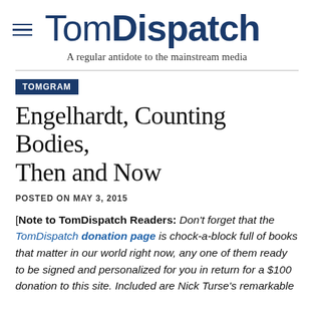TomDispatch — A regular antidote to the mainstream media
TOMGRAM
Engelhardt, Counting Bodies, Then and Now
POSTED ON MAY 3, 2015
[Note to TomDispatch Readers: Don't forget that the TomDispatch donation page is chock-a-block full of books that matter in our world right now, any one of them ready to be signed and personalized for you in return for a $100 donation to this site. Included are Nick Turse's remarkable